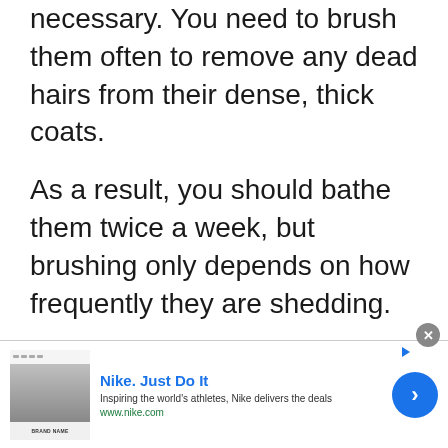necessary. You need to brush them often to remove any dead hairs from their dense, thick coats.
As a result, you should bathe them twice a week, but brushing only depends on how frequently they are shedding.
[Figure (other): Nike advertisement banner with Nike logo image on left, 'Nike. Just Do It' title in blue, description text 'Inspiring the world's athletes, Nike delivers the deals', URL 'www.nike.com' in green, a blue circular arrow/play button on the right, and a close (X) button at top right.]